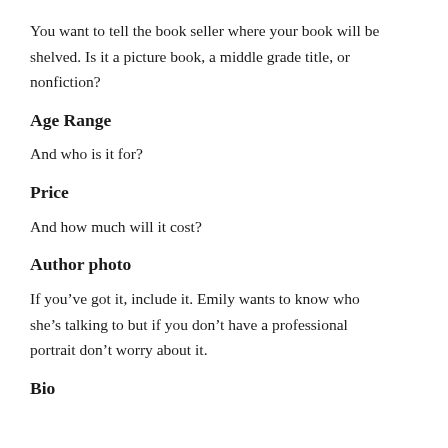You want to tell the book seller where your book will be shelved.  Is it a picture book, a middle grade title, or nonfiction?
Age Range
And who is it for?
Price
And how much will it cost?
Author photo
If you’ve got it, include it.  Emily wants to know who she’s talking to but if you don’t have a professional portrait don’t worry about it.
Bio